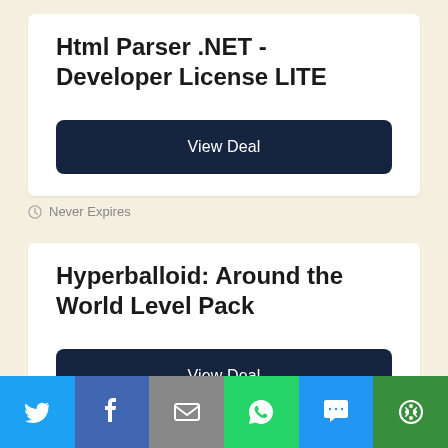Html Parser .NET - Developer License LITE
View Deal
Never Expires
Hyperballoid: Around the World Level Pack
View Deal